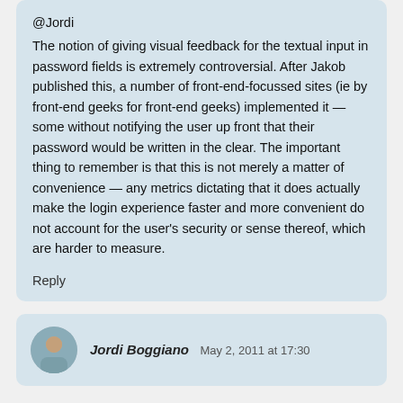@Jordi
The notion of giving visual feedback for the textual input in password fields is extremely controversial. After Jakob published this, a number of front-end-focussed sites (ie by front-end geeks for front-end geeks) implemented it — some without notifying the user up front that their password would be written in the clear. The important thing to remember is that this is not merely a matter of convenience — any metrics dictating that it does actually make the login experience faster and more convenient do not account for the user's security or sense thereof, which are harder to measure.
Reply
Jordi Boggiano  May 2, 2011 at 17:30